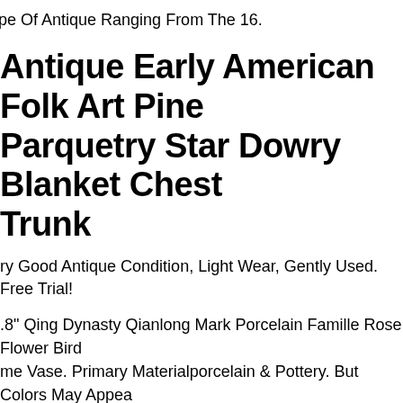pe Of Antique Ranging From The 16.
Antique Early American Folk Art Pine Parquetry Star Dowry Blanket Chest Trunk
ry Good Antique Condition, Light Wear, Gently Used. Free Trial!
.8" Qing Dynasty Qianlong Mark Porcelain Famille Rose Flower Bird me Vase. Primary Materialporcelain & Pottery. But Colors May Appear ightly Different To Each User Due To Individual Monitor. Origin China.
nder: American Professional Ii Telecaster -roasted Pine- Electric uitar. fingerboard Maple neck Maple. - Just A Reference Of The uitar. The Tariff Rate Differs Depending On The Item. Case Hard se. B Poor (may Need Repair). For Example C For Parts.